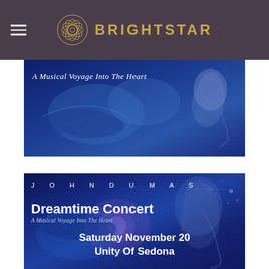BRIGHTSTAR
[Figure (photo): Partial top banner showing 'A Musical Voyage Into The Heart' text over a blue cosmic background with whale imagery and a person with long hair]
[Figure (photo): John Dumas Dreamtime Concert promotional poster with blue cosmic background, whale imagery, artist with long hair. Text: JOHN DUMAS, Dreamtime Concert, A Musical Voyage Into The Heart, Saturday November 20, Unity Of Sedona]